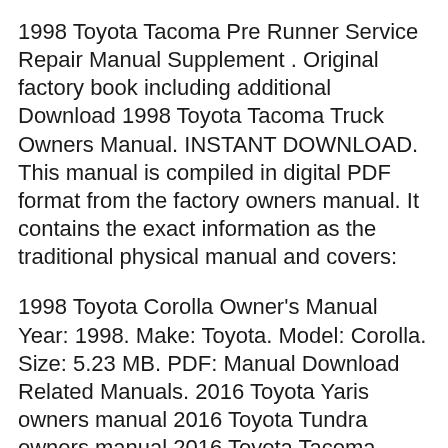1998 Toyota Tacoma Pre Runner Service Repair Manual Supplement . Original factory book including additional Download 1998 Toyota Tacoma Truck Owners Manual. INSTANT DOWNLOAD. This manual is compiled in digital PDF format from the factory owners manual. It contains the exact information as the traditional physical manual and covers:
1998 Toyota Corolla Owner's Manual Year: 1998. Make: Toyota. Model: Corolla. Size: 5.23 MB. PDF: Manual Download Related Manuals. 2016 Toyota Yaris owners manual 2016 Toyota Tundra owners manual 2016 Toyota Tacoma owners manual 2016 Toyota Sequoia owners manual 2016 Toyota